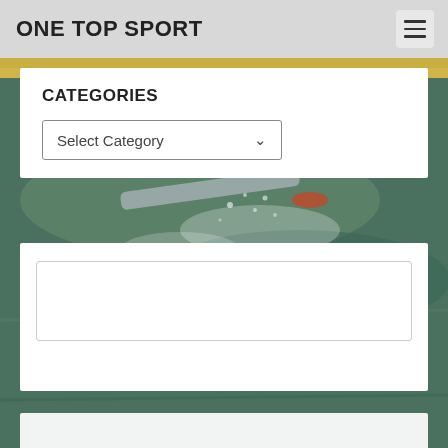ONE TOP SPORT
CATEGORIES
Select Category
[Figure (photo): Water sport action photo — a kayak or surfboard bow cutting through splashing water with golden sunset light in the background]
[Figure (screenshot): White content card with an empty bordered rectangular area inside, part of a website widget layout]